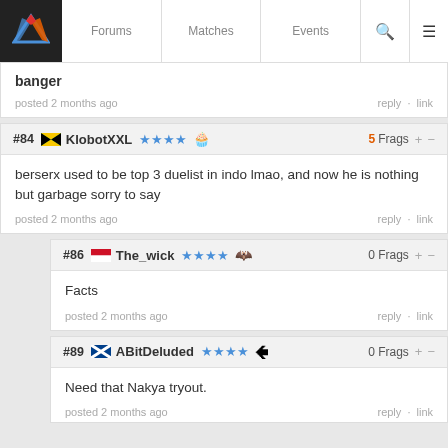Forums | Matches | Events
banger
posted 2 months ago   reply · link
#84 KlobotXXL  5 Frags + -
berserx used to be top 3 duelist in indo lmao, and now he is nothing but garbage sorry to say
posted 2 months ago   reply · link
#86 The_wick  0 Frags + -
Facts
posted 2 months ago   reply · link
#89 ABitDeluded  0 Frags + -
Need that Nakya tryout.
posted 2 months ago   reply · link